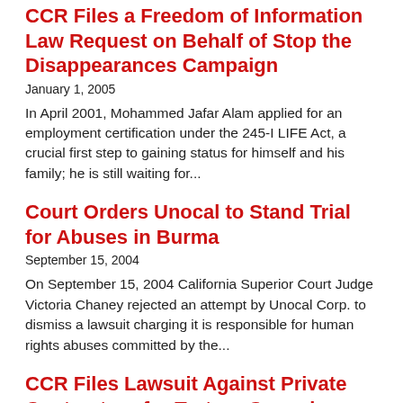CCR Files a Freedom of Information Law Request on Behalf of Stop the Disappearances Campaign
January 1, 2005
In April 2001, Mohammed Jafar Alam applied for an employment certification under the 245-I LIFE Act, a crucial first step to gaining status for himself and his family; he is still waiting for...
Court Orders Unocal to Stand Trial for Abuses in Burma
September 15, 2004
On September 15, 2004 California Superior Court Judge Victoria Chaney rejected an attempt by Unocal Corp. to dismiss a lawsuit charging it is responsible for human rights abuses committed by the...
CCR Files Lawsuit Against Private Contractors for Torture Conspiracy